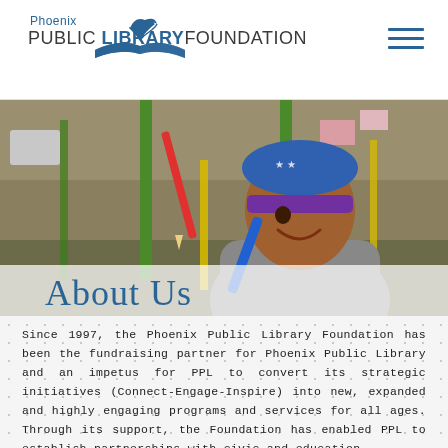Phoenix PUBLIC LIBRARY FOUNDATION
[Figure (photo): A smiling child wearing a blue star-patterned hat and purple headband, holding a red pencil and blue instrument in a library or classroom setting. An 'About Us' text overlay appears at the bottom of the image.]
About Us
Since 1997, the Phoenix Public Library Foundation has been the fundraising partner for Phoenix Public Library and an impetus for PPL to convert its strategic initiatives (Connect-Engage-Inspire) into new, expanded and highly engaging programs and services for all ages. Through its support, the Foundation has enabled PPL to establish partnerships with civic and education